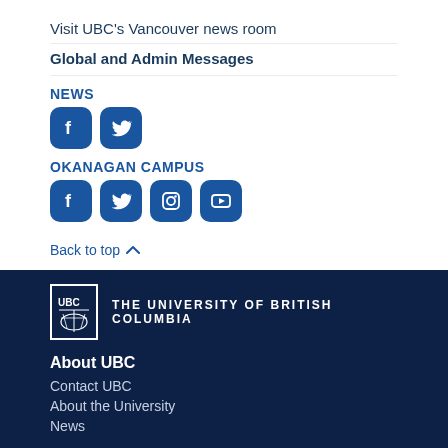Visit UBC's Vancouver news room
Global and Admin Messages
NEWS
[Figure (other): Facebook and Twitter social media icons in blue rounded squares for NEWS section]
OKANAGAN CAMPUS
[Figure (other): Facebook, Twitter, Instagram, and YouTube social media icons in blue rounded squares for OKANAGAN CAMPUS section]
Back to top
[Figure (logo): UBC logo - THE UNIVERSITY OF BRITISH COLUMBIA]
About UBC
Contact UBC
About the University
News